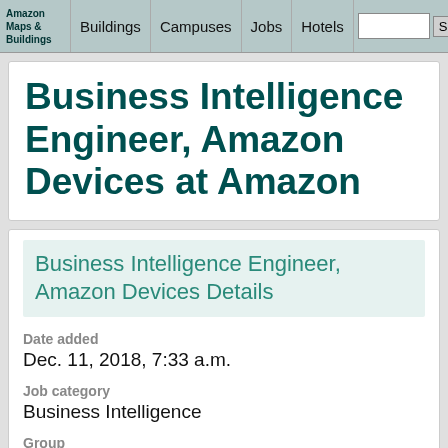Amazon Maps & Buildings | Buildings | Campuses | Jobs | Hotels | Search | Contact
Business Intelligence Engineer, Amazon Devices at Amazon
Business Intelligence Engineer, Amazon Devices Details
Date added
Dec. 11, 2018, 7:33 a.m.
Job category
Business Intelligence
Group
Device Sales and Business Development
Location